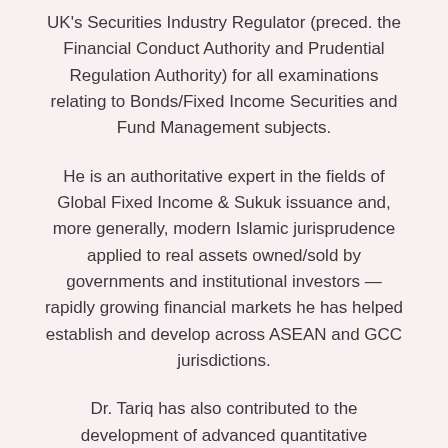UK's Securities Industry Regulator (preced. the Financial Conduct Authority and Prudential Regulation Authority) for all examinations relating to Bonds/Fixed Income Securities and Fund Management subjects.
He is an authoritative expert in the fields of Global Fixed Income & Sukuk issuance and, more generally, modern Islamic jurisprudence applied to real assets owned/sold by governments and institutional investors — rapidly growing financial markets he has helped establish and develop across ASEAN and GCC jurisdictions.
Dr. Tariq has also contributed to the development of advanced quantitative